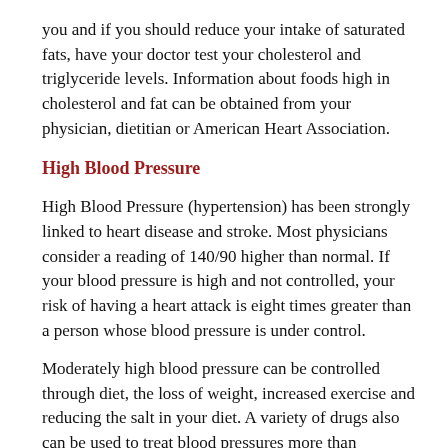you and if you should reduce your intake of saturated fats, have your doctor test your cholesterol and triglyceride levels. Information about foods high in cholesterol and fat can be obtained from your physician, dietitian or American Heart Association.
High Blood Pressure
High Blood Pressure (hypertension) has been strongly linked to heart disease and stroke. Most physicians consider a reading of 140/90 higher than normal. If your blood pressure is high and not controlled, your risk of having a heart attack is eight times greater than a person whose blood pressure is under control.
Moderately high blood pressure can be controlled through diet, the loss of weight, increased exercise and reducing the salt in your diet. A variety of drugs also can be used to treat blood pressures more than moderately high.
Diabetes